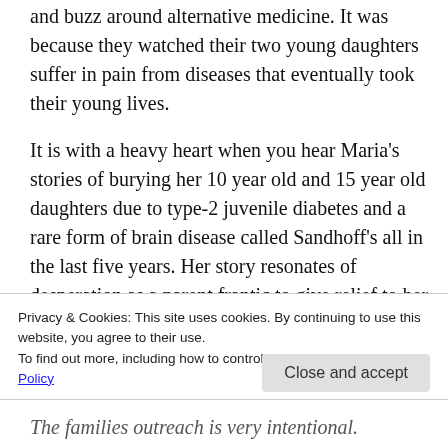and buzz around alternative medicine. It was because they watched their two young daughters suffer in pain from diseases that eventually took their young lives.
It is with a heavy heart when you hear Maria's stories of burying her 10 year old and 15 year old daughters due to type-2 juvenile diabetes and a rare form of brain disease called Sandhoff's all in the last five years. Her story resonates of desperation as a parent frantic to give relief to her children who suffered from bone pain to
Privacy & Cookies: This site uses cookies. By continuing to use this website, you agree to their use.
To find out more, including how to control cookies, see here: Cookie Policy
Close and accept
The families outreach is very intentional.